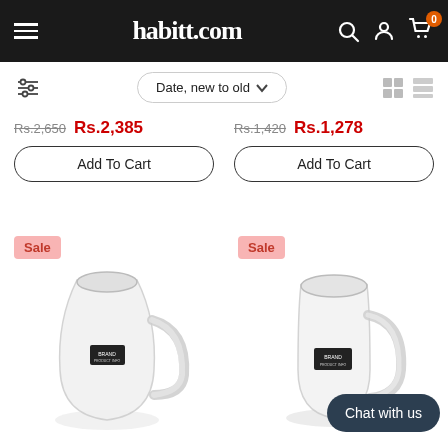habitt.com
Date, new to old
Rs.2,650  Rs.2,385  Add To Cart
Rs.1,420  Rs.1,278  Add To Cart
[Figure (photo): Glass pitcher/jug with handle, transparent, with Sale badge]
[Figure (photo): Glass mug/pitcher with handle, transparent, with Sale badge and Chat with us button]